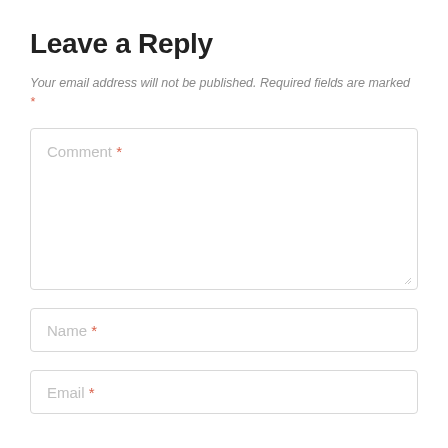Leave a Reply
Your email address will not be published. Required fields are marked *
[Figure (other): Comment text area input field with placeholder text 'Comment *']
[Figure (other): Name text input field with placeholder text 'Name *']
[Figure (other): Email text input field with placeholder text 'Email *']